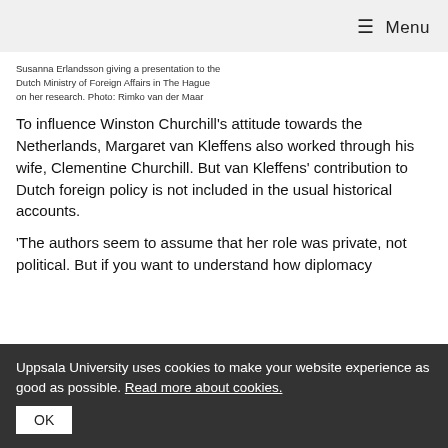≡ Menu
Susanna Erlandsson giving a presentation to the Dutch Ministry of Foreign Affairs in The Hague on her research. Photo: Rimko van der Maar
To influence Winston Churchill's attitude towards the Netherlands, Margaret van Kleffens also worked through his wife, Clementine Churchill. But van Kleffens' contribution to Dutch foreign policy is not included in the usual historical accounts.
'The authors seem to assume that her role was private, not political. But if you want to understand how diplomacy
Uppsala University uses cookies to make your website experience as good as possible. Read more about cookies.